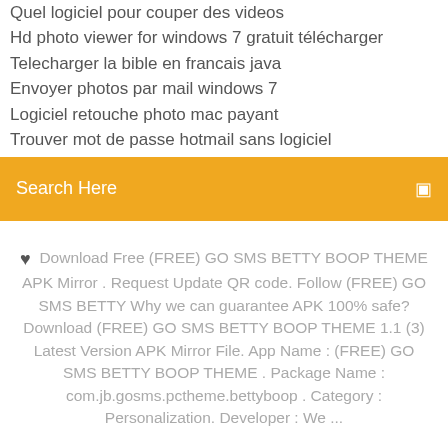Quel logiciel pour couper des videos
Hd photo viewer for windows 7 gratuit télécharger
Telecharger la bible en francais java
Envoyer photos par mail windows 7
Logiciel retouche photo mac payant
Trouver mot de passe hotmail sans logiciel
Search Here
♥ Download Free (FREE) GO SMS BETTY BOOP THEME APK Mirror . Request Update QR code. Follow (FREE) GO SMS BETTY Why we can guarantee APK 100% safe? Download (FREE) GO SMS BETTY BOOP THEME 1.1 (3) Latest Version APK Mirror File. App Name : (FREE) GO SMS BETTY BOOP THEME . Package Name : com.jb.gosms.pctheme.bettyboop . Category : Personalization. Developer : We ...
[Figure (infographic): Social media icons: facebook (f), twitter bird, dribbble (circle with lines), behance (Be)]